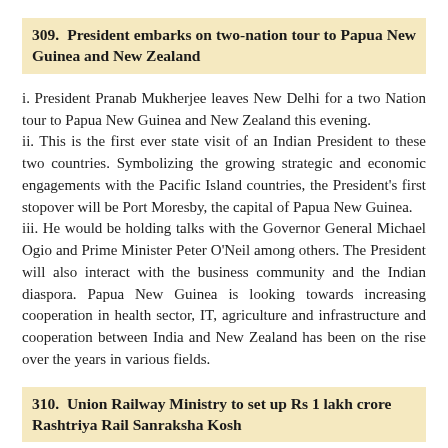309. President embarks on two-nation tour to Papua New Guinea and New Zealand
i. President Pranab Mukherjee leaves New Delhi for a two Nation tour to Papua New Guinea and New Zealand this evening.
ii. This is the first ever state visit of an Indian President to these two countries. Symbolizing the growing strategic and economic engagements with the Pacific Island countries, the President's first stopover will be Port Moresby, the capital of Papua New Guinea.
iii. He would be holding talks with the Governor General Michael Ogio and Prime Minister Peter O'Neil among others. The President will also interact with the business community and the Indian diaspora. Papua New Guinea is looking towards increasing cooperation in health sector, IT, agriculture and infrastructure and cooperation between India and New Zealand has been on the rise over the years in various fields.
310. Union Railway Ministry to set up Rs 1 lakh crore Rashtriya Rail Sanraksha Kosh